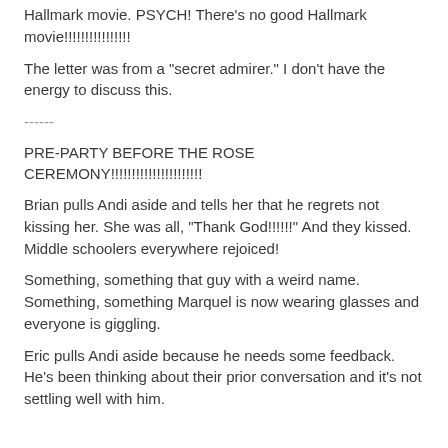Hallmark movie. PSYCH! There's no good Hallmark movie!!!!!!!!!!!!!!!!
The letter was from a "secret admirer." I don't have the energy to discuss this.
------
PRE-PARTY BEFORE THE ROSE CEREMONY!!!!!!!!!!!!!!!!!!!!!!
Brian pulls Andi aside and tells her that he regrets not kissing her. She was all, "Thank God!!!!!!" And they kissed. Middle schoolers everywhere rejoiced!
Something, something that guy with a weird name. Something, something Marquel is now wearing glasses and everyone is giggling.
Eric pulls Andi aside because he needs some feedback. He's been thinking about their prior conversation and it's not settling well with him.